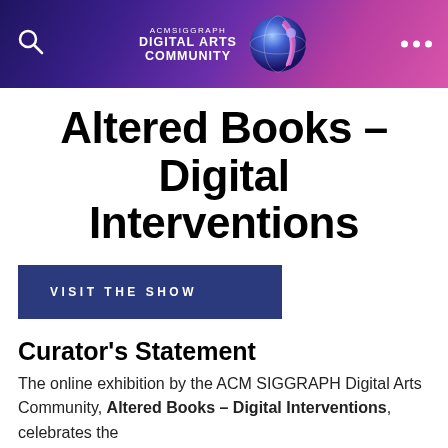ACMSIGGRAPH DIGITAL ARTS COMMUNITY
Altered Books – Digital Interventions
VISIT THE SHOW
Curator's Statement
The online exhibition by the ACM SIGGRAPH Digital Arts Community, Altered Books – Digital Interventions, celebrates the